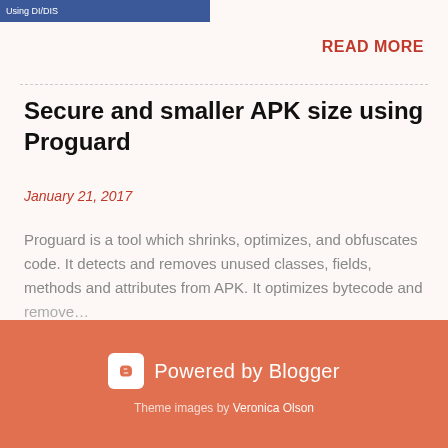[Figure (screenshot): Small blue banner image with text 'Using DI/DIS']
READ MORE
Secure and smaller APK size using Proguard
January 21, 2017
Proguard is a tool which shrinks, optimizes, and obfuscates code. It detects and removes unused classes, fields, methods and attributes from APK. It optimizes bytecode and remove…
READ MORE
Powered by Blogger
Theme images by Veronica Olson